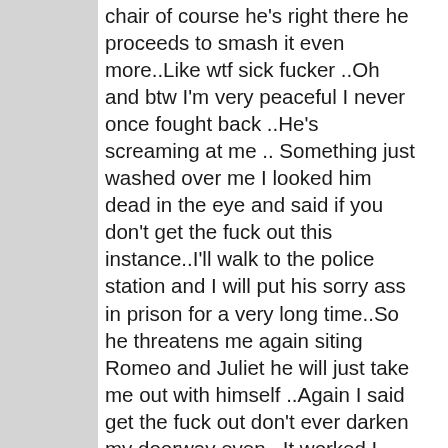chair of course he's right there he proceeds to smash it even more..Like wtf sick fucker ..Oh and btw I'm very peaceful I never once fought back ..He's screaming at me .. Something just washed over me I looked him dead in the eye and said if you don't get the fuck out this instance..I'll walk to the police station and I will put his sorry ass in prison for a very long time..So he threatens me again siting Romeo and Juliet he will just take me out with himself ..Again I said get the fuck out don't ever darken my doorway even ..It worked I figured if he was going
Advertisements
[Figure (other): Bloomingdale's advertisement banner. Shows Bloomingdales logo, 'View Today's Top Deals!' tagline, image of woman in wide-brim hat, and 'SHOP NOW >' call to action button.]